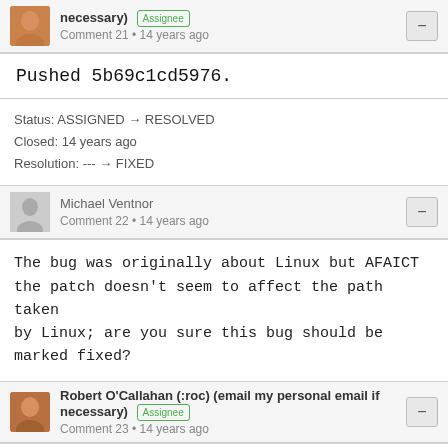necessary) [Assignee] Comment 21 • 14 years ago
Pushed 5b69c1cd5976.
Status: ASSIGNED → RESOLVED
Closed: 14 years ago
Resolution: --- → FIXED
Michael Ventnor
Comment 22 • 14 years ago
The bug was originally about Linux but AFAICT the patch doesn't seem to affect the path taken by Linux; are you sure this bug should be marked fixed?
Robert O'Callahan (:roc) (email my personal email if necessary) [Assignee] Comment 23 • 14 years ago
The changes to nsScrollPortView.cpp should